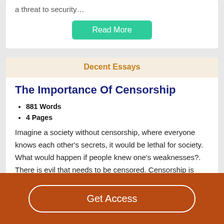a threat to security…
Read More
Decent Essays
The Importance Of Censorship
881 Words
4 Pages
Imagine a society without censorship, where everyone knows each other's secrets, it would be lethal for society. What would happen if people knew one's weaknesses?. There is evil that needs to be censored. Censorship is necessary in our
Get Access